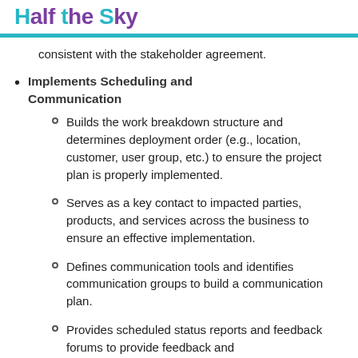Half the Sky
consistent with the stakeholder agreement.
Implements Scheduling and Communication
Builds the work breakdown structure and determines deployment order (e.g., location, customer, user group, etc.) to ensure the project plan is properly implemented.
Serves as a key contact to impacted parties, products, and services across the business to ensure an effective implementation.
Defines communication tools and identifies communication groups to build a communication plan.
Provides scheduled status reports and feedback forums to provide feedback and